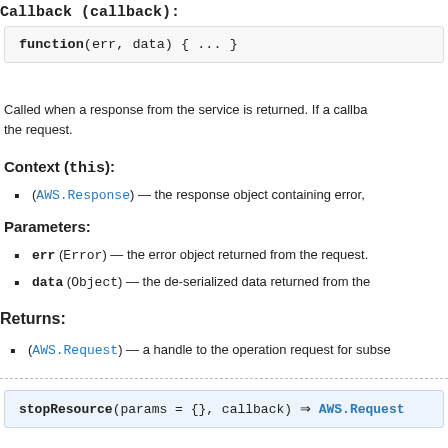Callback (callback):
function(err, data) { ... }
Called when a response from the service is returned. If a callback the request.
Context (this):
(AWS.Response) — the response object containing error,
Parameters:
err (Error) — the error object returned from the request.
data (Object) — the de-serialized data returned from the
Returns:
(AWS.Request) — a handle to the operation request for subse
stopResource(params = {}, callback) ⇒ AWS.Request